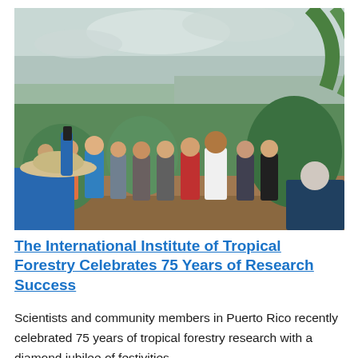[Figure (photo): Group of scientists and community members standing outdoors on a hillside with tropical vegetation and a city visible in the background. One person in a white shirt appears to be presenting or speaking to the group. A person in the foreground wearing a wide-brimmed hat is photographing the group.]
The International Institute of Tropical Forestry Celebrates 75 Years of Research Success
Scientists and community members in Puerto Rico recently celebrated 75 years of tropical forestry research with a diamond jubilee of festivities.